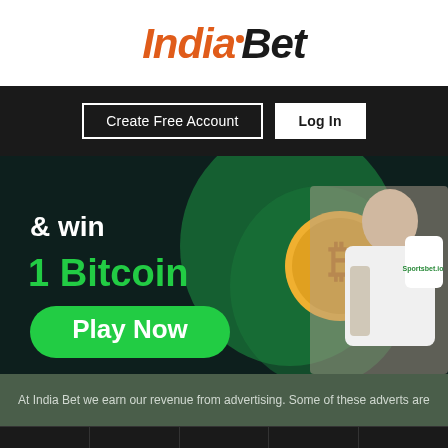[Figure (logo): IndiaBet logo with orange 'India' and black 'Bet' italic text and orange dot above 'B']
Create Free Account
Log In
[Figure (illustration): Dark background promotional banner showing '& win 1 Bitcoin Play Now' with a man holding a bag, a bitcoin coin graphic, and a green circle. Green 'Play Now' button visible.]
At India Bet we earn our revenue from advertising. Some of these adverts are
Betting
Prizes
Shop
News